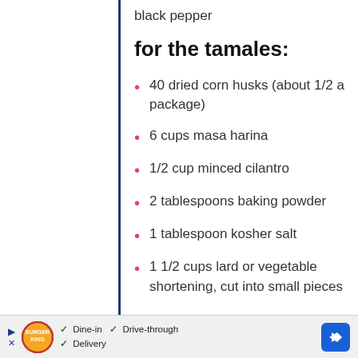black pepper
for the tamales:
40 dried corn husks (about 1/2 a package)
6 cups masa harina
1/2 cup minced cilantro
2 tablespoons baking powder
1 tablespoon kosher salt
1 1/2 cups lard or vegetable shortening, cut into small pieces
Burger King ad: Dine-in, Drive-through, Delivery